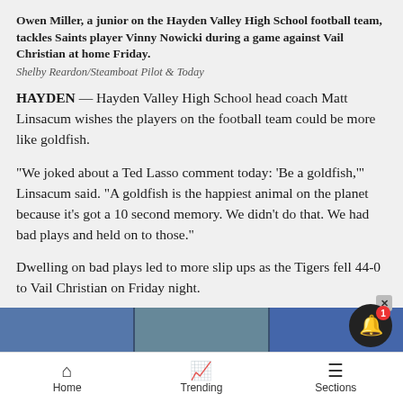Owen Miller, a junior on the Hayden Valley High School football team, tackles Saints player Vinny Nowicki during a game against Vail Christian at home Friday.
Shelby Reardon/Steamboat Pilot & Today
HAYDEN — Hayden Valley High School head coach Matt Linsacum wishes the players on the football team could be more like goldfish.
“We joked about a Ted Lasso comment today: ‘Be a goldfish,’” Linsacum said. “A goldfish is the happiest animal on the planet because it’s got a 10 second memory. We didn’t do that. We had bad plays and held on to those.”
Dwelling on bad plays led to more slip ups as the Tigers fell 44-0 to Vail Christian on Friday night.
[Figure (photo): Partial photo strip visible at the bottom of the article area]
Home   Trending   Sections